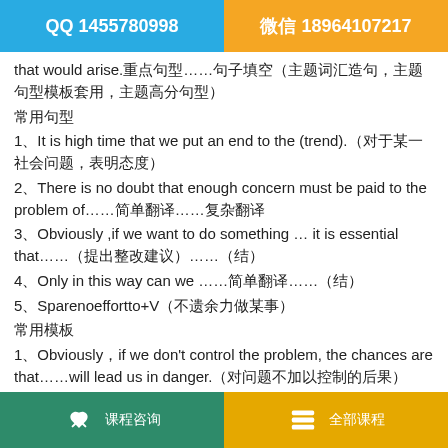QQ 1455780998 | 微信 18964107217
that would arise.重点句型……句子填空（主题词汇造句，主题句型模板套用，主题高分句型）
1、It is high time that we put an end to the (trend).（对于某一社会问题，表明态度）
2、There is no doubt that enough concern must be paid to the problem of……简单翻译……复杂翻译
3、Obviously ,if we want to do something … it is essential that……（提出整改建议）……（结尾）
4、Only in this way can we ……简单翻译……（结尾）
5、Sparenoeffortto+V（不遗余力做某事）
常用模板
1、Obviously，if we don't control the problem, the chances are that……will lead us in danger.（对问题不加以控制的后果）